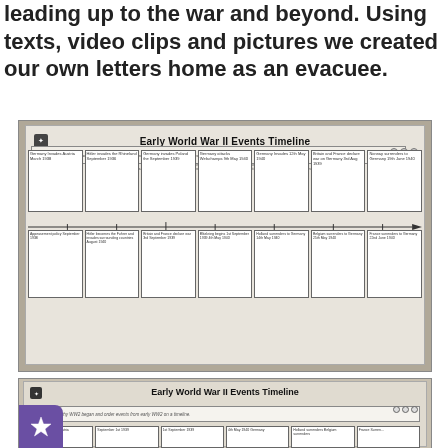leading up to the war and beyond. Using texts, video clips and pictures we created our own letters home as an evacuee.
[Figure (photo): Photograph of a student worksheet titled 'Early World War II Events Timeline' showing a completed timeline with boxes above and below a horizontal arrow line, containing handwritten notes about WWII events.]
[Figure (photo): Second photograph showing another 'Early World War II Events Timeline' worksheet, partially visible at the bottom of the page, with a purple star badge in the bottom-left corner.]